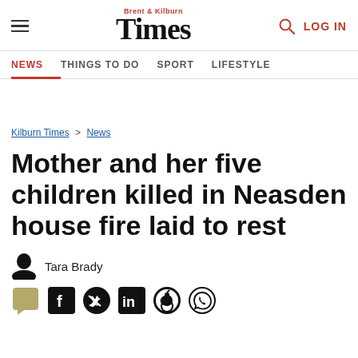Brent & Kilburn Times — LOG IN
NEWS | THINGS TO DO | SPORT | LIFESTYLE
Kilburn Times > News
Mother and her five children killed in Neasden house fire laid to rest
Tara Brady